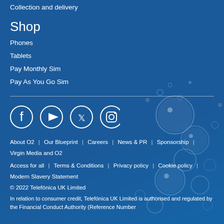Collection and delivery
Shop
Phones
Tablets
Pay Monthly Sim
Pay As You Go Sim
[Figure (infographic): Social media icons: Facebook, YouTube, Twitter, Instagram on dark blue background with bubble decorations]
About O2 | Our Blueprint | Careers | News & PR | Sponsorship | Virgin Media and O2
Access for all | Terms & Conditions | Privacy policy | Cookie policy | Modern Slavery Statement
© 2022 Telefónica UK Limited
In relation to consumer credit, Telefónica UK Limited is authorised and regulated by the Financial Conduct Authority (Reference Number